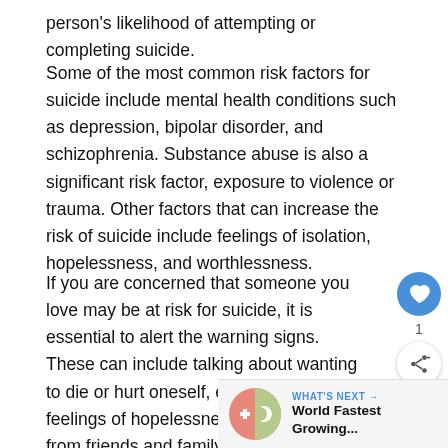person's likelihood of attempting or completing suicide.
Some of the most common risk factors for suicide include mental health conditions such as depression, bipolar disorder, and schizophrenia. Substance abuse is also a significant risk factor, exposure to violence or trauma. Other factors that can increase the risk of suicide include feelings of isolation, hopelessness, and worthlessness.
If you are concerned that someone you love may be at risk for suicide, it is essential to alert the warning signs. These can include talking about wanting to die or hurt oneself, expressing feelings of hopelessness, withdrawing from friends and family, giving away prized possessions, and mood swings.
[Figure (infographic): UI overlay showing a blue heart/like button with count '1', a share button, and a 'What's Next' bar at bottom right showing a circular icon split between a cross and crescent symbol, with text 'WHAT'S NEXT → World Fastest Growing...']